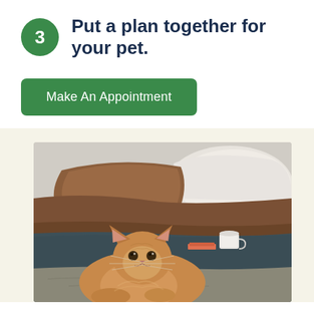3  Put a plan together for your pet.
Make An Appointment
[Figure (photo): A fluffy orange/ginger cat lying on a bed with rumpled grey blankets, brown/rust colored pillows and a white mug in the background]